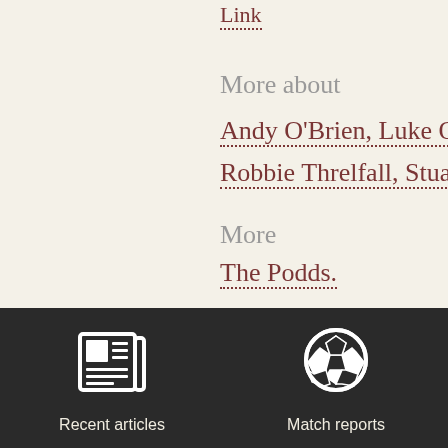Link
More about
Andy O'Brien, Luke O'Brien, Robbie Threlfall, Stuart McCa…
More
The Podds.
In the middle of a trul… second half performan…
[Figure (illustration): Recent articles icon — newspaper icon in white on dark background]
Recent articles
[Figure (illustration): Match reports icon — soccer ball icon in white on dark background]
Match reports